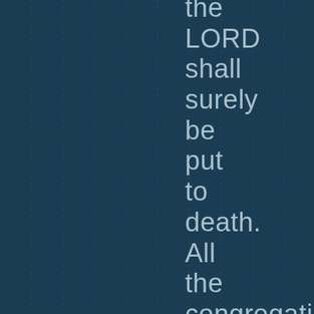the LORD shall surely be put to death. All the congregation shall certainly stone him, the stranger as well